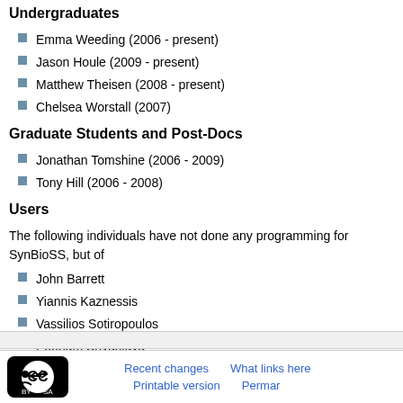Undergraduates
Emma Weeding (2006 - present)
Jason Houle (2009 - present)
Matthew Theisen (2008 - present)
Chelsea Worstall (2007)
Graduate Students and Post-Docs
Jonathan Tomshine (2006 - 2009)
Tony Hill (2006 - 2008)
Users
The following individuals have not done any programming for SynBioSS, but of
John Barrett
Yiannis Kaznessis
Vassilios Sotiropoulos
Poonam Srivastava
Ben Swiniarski
Kat Volzing
Recent changes  What links here  Printable version  Permar